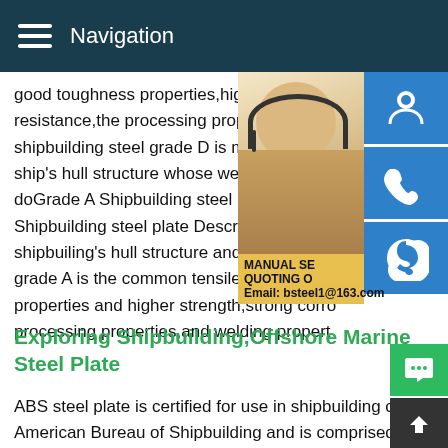Navigation
good toughness properties,higher strength resistance,the processing properties,and w shipbuilding steel grade D is mainly used i ship's hull structure whose weight is below doGrade A Shipbuilding steel plate - BBN Shipbuilding steel plate Description Grade shipbuiling's hull structure and platform.Th grade A is the common tensile strength ste properties and higher strength,strong corro processing properties,and welding propert
[Figure (photo): Customer service representative - Asian woman wearing headset, smiling, with blue icon buttons for chat, phone, and Skype overlaid on the right side. Contact overlay shows MANUAL SE... QUOTING O... Email: bsteel1@163.com]
Exploring Shipbuilding,Offshore Marine Steel Plate
ABS steel plate is certified for use in shipbuilding capabilities b American Bureau of Shipbuilding and is comprised of several strength grades.ABS grades are divided into two categories ba on their yield points and tensile strengths, ordinary strength a